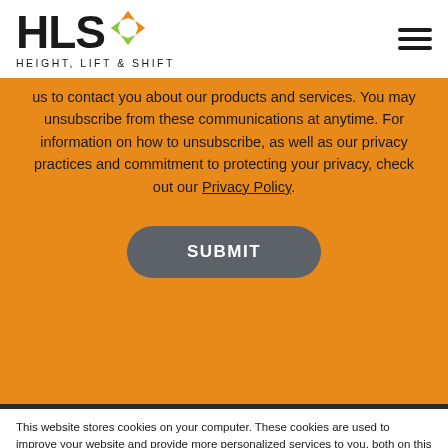[Figure (logo): HLS Height, Lift & Shift logo with orange/green diamond icon and hamburger menu]
us to contact you about our products and services. You may unsubscribe from these communications at anytime. For information on how to unsubscribe, as well as our privacy practices and commitment to protecting your privacy, check out our Privacy Policy.
SUBMIT
This website stores cookies on your computer. These cookies are used to improve your website and provide more personalized services to you, both on this website and through other media. To find out more about the cookies we use, see our Privacy Policy.
Accept
Decline